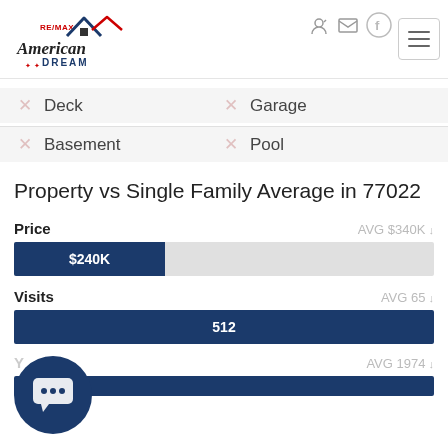[Figure (logo): RE/MAX American Dream logo with house roofline graphic]
× Deck
× Garage
× Basement
× Pool
Property vs Single Family Average in 77022
Price  AVG $340K
[Figure (bar-chart): Price]
Visits  AVG 65
[Figure (bar-chart): Visits]
AVG 1974